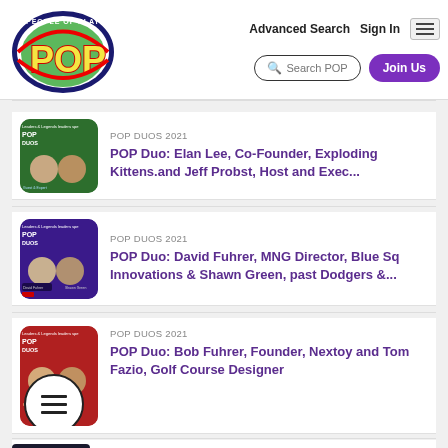People of Play (POP) - Advanced Search | Sign In | Search POP | Join Us
POP DUOS 2021
POP Duo: Elan Lee, Co-Founder, Exploding Kittens.and Jeff Probst, Host and Exec...
POP DUOS 2021
POP Duo: David Fuhrer, MNG Director, Blue Sq Innovations & Shawn Green, past Dodgers &...
POP DUOS 2021
POP Duo: Bob Fuhrer, Founder, Nextoy and Tom Fazio, Golf Course Designer